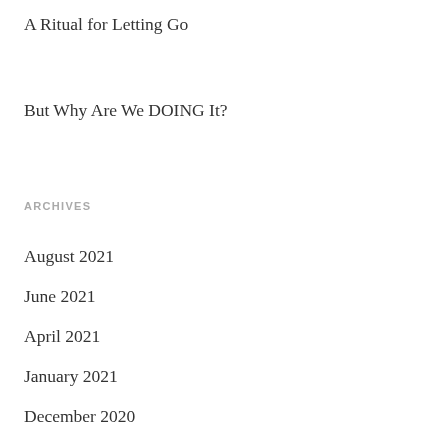A Ritual for Letting Go
But Why Are We DOING It?
ARCHIVES
August 2021
June 2021
April 2021
January 2021
December 2020
May 2020
April 2020
March 2020
February 2020
January 2020
December 2019